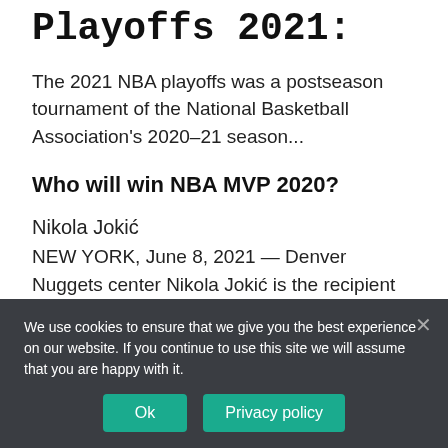Playoffs 2021:
The 2021 NBA playoffs was a postseason tournament of the National Basketball Association's 2020–21 season...
Who will win NBA MVP 2020?
Nikola Jokić
NEW YORK, June 8, 2021 — Denver Nuggets center Nikola Jokić is the recipient of the Maurice Podoloff Trophy as the 2020-21 Kia...
We use cookies to ensure that we give you the best experience on our website. If you continue to use this site we will assume that you are happy with it.